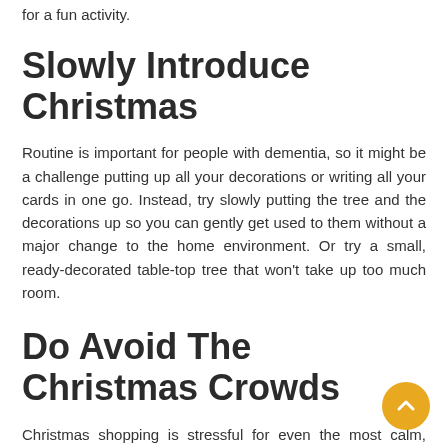for a fun activity.
Slowly Introduce Christmas
Routine is important for people with dementia, so it might be a challenge putting up all your decorations or writing all your cards in one go. Instead, try slowly putting the tree and the decorations up so you can gently get used to them without a major change to the home environment. Or try a small, ready-decorated table-top tree that won't take up too much room.
Do Avoid The Christmas Crowds
Christmas shopping is stressful for even the most calm, level-headed person. One major part of the stress is the crowds and the loud shops with lots of people in them and